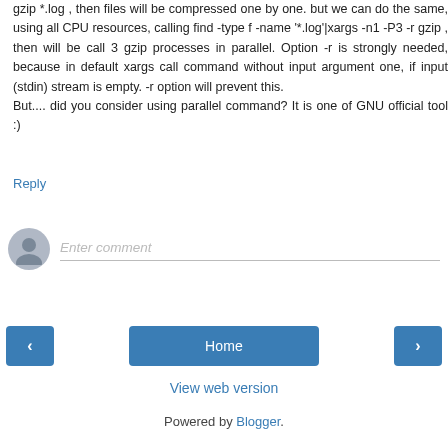gzip *.log , then files will be compressed one by one. but we can do the same, using all CPU resources, calling find -type f -name '*.log'|xargs -n1 -P3 -r gzip , then will be call 3 gzip processes in parallel. Option -r is strongly needed, because in default xargs call command without input argument one, if input (stdin) stream is empty. -r option will prevent this.
But.... did you consider using parallel command? It is one of GNU official tool :)
Reply
[Figure (other): Comment input area with user avatar and placeholder text 'Enter comment']
[Figure (other): Navigation buttons: left arrow, Home, right arrow]
View web version
Powered by Blogger.